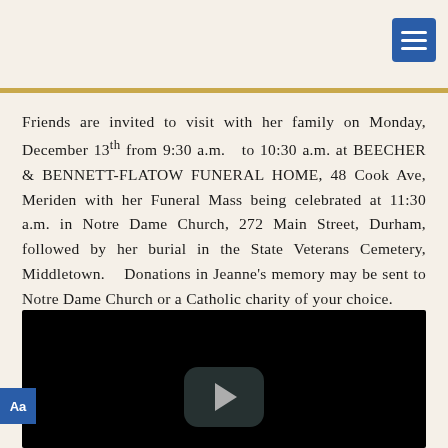Friends are invited to visit with her family on Monday, December 13th from 9:30 a.m.  to 10:30 a.m. at BEECHER & BENNETT-FLATOW FUNERAL HOME, 48 Cook Ave, Meriden with her Funeral Mass being celebrated at 11:30 a.m. in Notre Dame Church, 272 Main Street, Durham, followed by her burial in the State Veterans Cemetery, Middletown.   Donations in Jeanne’s memory may be sent to Notre Dame Church or a Catholic charity of your choice.
[Figure (other): Embedded video player with black background and play button]